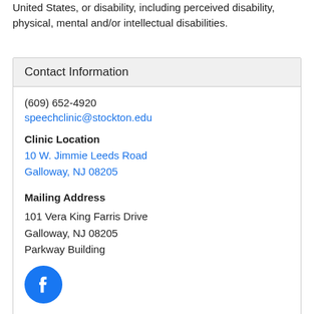United States, or disability, including perceived disability, physical, mental and/or intellectual disabilities.
Contact Information
(609) 652-4920
speechclinic@stockton.edu
Clinic Location
10 W. Jimmie Leeds Road
Galloway, NJ 08205
Mailing Address
101 Vera King Farris Drive
Galloway, NJ 08205
Parkway Building
[Figure (logo): Facebook logo icon - blue circle with white f letter]
Clinic Information
Clinic Brochure
Clinic Flyer